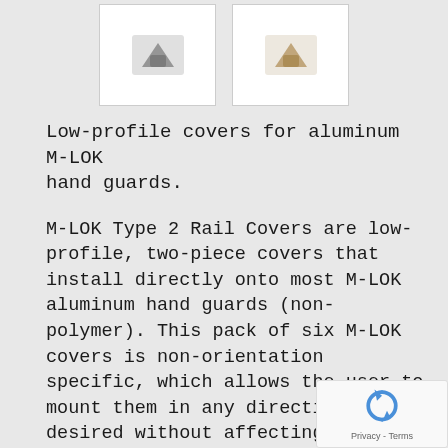[Figure (photo): Two product images showing M-LOK rail covers in gray and tan colors displayed in white boxes on a gray background.]
Low-profile covers for aluminum M-LOK hand guards.
M-LOK Type 2 Rail Covers are low-profile, two-piece covers that install directly onto most M-LOK aluminum hand guards (non-polymer). This pack of six M-LOK covers is non-orientation specific, which allows the user to mount them in any direction desired without affecting function. Not compatible with MAGPUL MOE M-LOK, MOE SL and SGA forends, and may not be compatible with free-float hand guards that have a wide and flatter profile, as they will not seat deep enough to allow the center portion to lo...